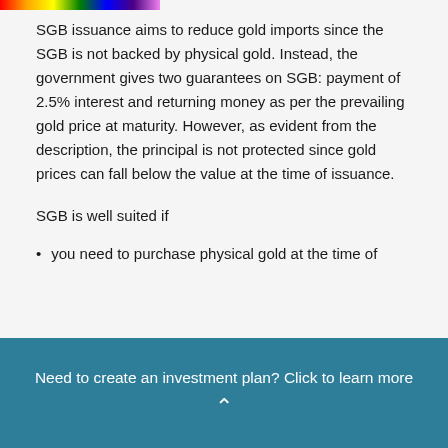SGB issuance aims to reduce gold imports since the SGB is not backed by physical gold. Instead, the government gives two guarantees on SGB: payment of 2.5% interest and returning money as per the prevailing gold price at maturity. However, as evident from the description, the principal is not protected since gold prices can fall below the value at the time of issuance.
SGB is well suited if
you need to purchase physical gold at the time of
Need to create an investment plan? Click to learn more